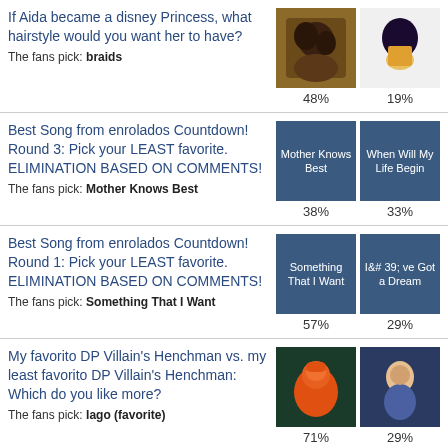If Aida became a disney Princess, what hairstyle would you want her to have? The fans pick: braids. 48% / 19%
Best Song from enrolados Countdown! Round 3: Pick your LEAST favorite. ELIMINATION BASED ON COMMENTS! The fans pick: Mother Knows Best. Mother Knows Best 38% / When Will My Life Begin 33%
Best Song from enrolados Countdown! Round 1: Pick your LEAST favorite. ELIMINATION BASED ON COMMENTS! The fans pick: Something That I Want. Something That I Want 57% / I've Got a Dream 29%
My favorito DP Villain's Henchman vs. my least favorito DP Villain's Henchman: Which do you like more? The fans pick: Iago (favorite). 71% / 29%
Best Lyric Contest - Round 19: If I